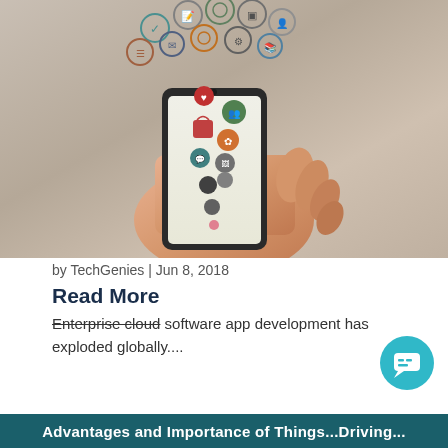[Figure (illustration): Illustration of a hand holding a smartphone with colorful app icons floating above it on a beige/tan gradient background]
by TechGenies | Jun 8, 2018
Read More
Enterprise cloud software app development has exploded globally....
[Figure (other): Teal circular chat/messaging button icon in bottom right corner]
Advantages and Importance of Things...Driving...